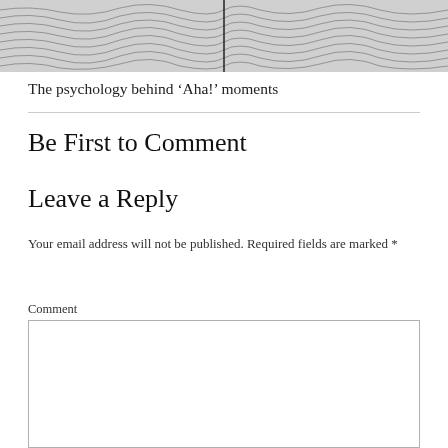[Figure (photo): Abstract wavy black and white pattern resembling tree rings or topographic lines, with a dark vertical line in the center.]
The psychology behind ‘Aha!’ moments
Be First to Comment
Leave a Reply
Your email address will not be published. Required fields are marked *
Comment